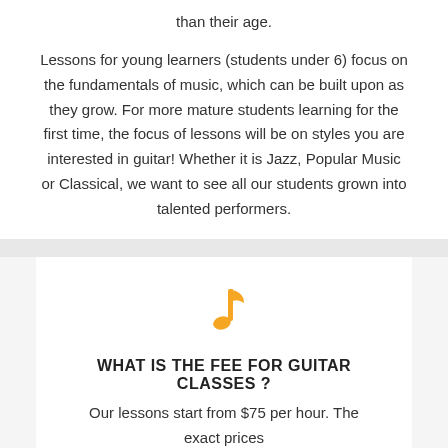than their age.
Lessons for young learners (students under 6) focus on the fundamentals of music, which can be built upon as they grow. For more mature students learning for the first time, the focus of lessons will be on styles you are interested in guitar! Whether it is Jazz, Popular Music or Classical, we want to see all our students grown into talented performers.
[Figure (illustration): Orange musical note icon]
WHAT IS THE FEE FOR GUITAR CLASSES ?
Our lessons start from $75 per hour. The exact prices